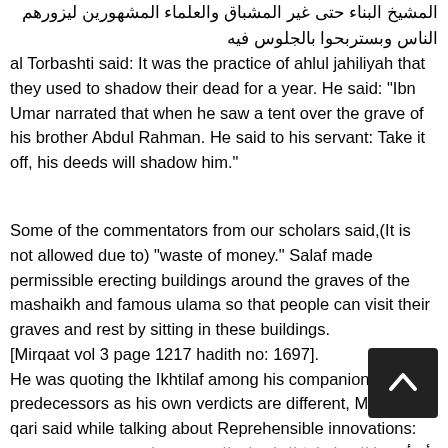المشيخ البناء حتى غير المشباق والعلماء المشهورين ليزورهم الناس وبستربحوا بالجلوس فيه
al Torbashti said: It was the practice of ahlul jahiliyah that they used to shadow their dead for a year. He said: “Ibn Umar narrated that when he saw a tent over the grave of his brother Abdul Rahman. He said to his servant: Take it off, his deeds will shadow him.”
Some of the commentators from our scholars said,(It is not allowed due to) “waste of money.” Salaf made permissible erecting buildings around the graves of the mashaikh and famous ulama so that people can visit their graves and rest by sitting in these buildings. [Mirqaat vol 3 page 1217 hadith no: 1697].
He was quoting the Ikhtilaf among his companions and predecessors as his own verdicts are different, Mulla Ali al qari said while talking about Reprehensible innovations:
ـ أن أكبر...